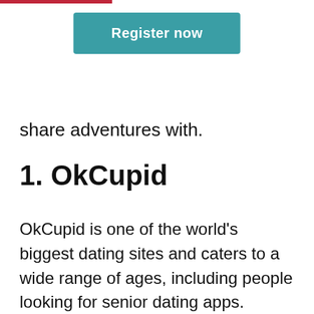[Figure (other): Teal/green 'Register now' button]
share adventures with.
1. OkCupid
OkCupid is one of the world’s biggest dating sites and caters to a wide range of ages, including people looking for senior dating apps. OkCupid employs a thorough personality test to present matches with high compatibility matches. The app also employs a swiping functionality and